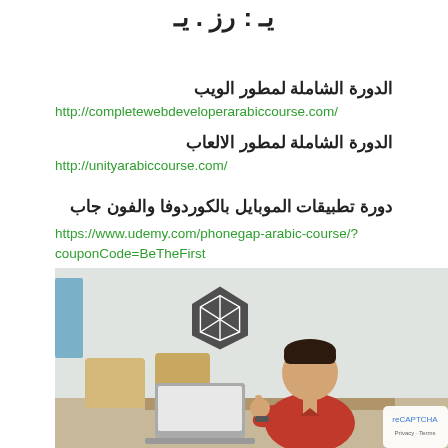...يـ
الدورة الشاملة لمطور الويب
http://completewebdeveloperarabiccourse.com/
الدورة الشاملة لمطور الالعاب
http://unityarabiccourse.com/
دورة تطبيقات الموبايل بالكوردوفا والفون جاب
https://www.udemy.com/phonegap-arabic-course/?couponCode=BeTheFirst
[Figure (photo): A man in a red shirt sitting at a desk with a laptop, giving a thumbs up, with a Unity logo overlay in the background, in a classroom/office setting.]